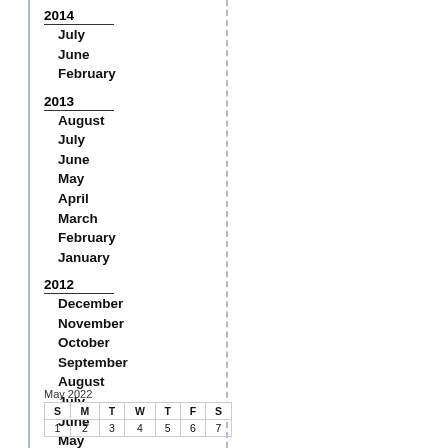2014
July
June
February
2013
August
July
June
May
April
March
February
January
2012
December
November
October
September
August
July
June
May
April
March
| S | M | T | W | T | F | S |
| --- | --- | --- | --- | --- | --- | --- |
| 1 | 2 | 3 | 4 | 5 | 6 | 7 |